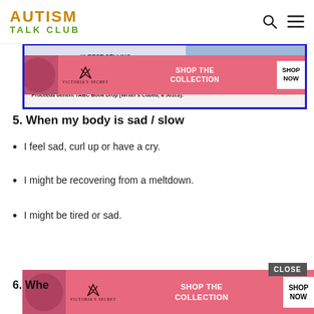AUTISM TALK CLUB
[Figure (other): Book advertisement showing author text and Victoria's Secret ad overlay with model, VS logo, SHOP THE COLLECTION, SHOP NOW button]
5. When my body is sad / slow
I feel sad, curl up or have a cry.
I might be recovering from a meltdown.
I might be tired or sad.
[Figure (other): Victoria's Secret advertisement with model, VS logo, SHOP THE COLLECTION, SHOP NOW button, with CLOSE button]
6. Whe...